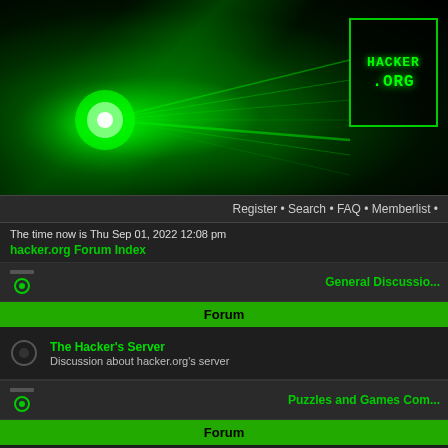[Figure (illustration): Hacker.org forum banner with green laser/light effects on black background and HACKER.ORG logo in top right corner]
Register • Search • FAQ • Memberlist •
The time now is Thu Sep 01, 2022 12:08 pm
hacker.org Forum Index
General Discussio...
| Forum |
| --- |
| The Hacker's Server
Discussion about hacker.org's server |
Puzzles and Games Com...
| Forum |
| --- |
| Challenges
 |
| Challenges Solved
Discussion of challenges you have already solved |
| General Puzzles
Discussion about the puzzle system. |
| Modulo Puzzle
This forum is for discussions related to solving the Modulo puzzle |